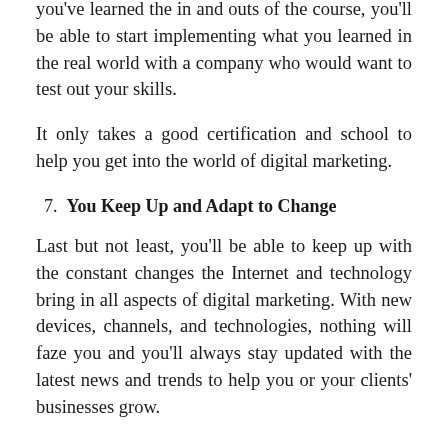you've learned the in and outs of the course, you'll be able to start implementing what you learned in the real world with a company who would want to test out your skills.
It only takes a good certification and school to help you get into the world of digital marketing.
7. You Keep Up and Adapt to Change
Last but not least, you'll be able to keep up with the constant changes the Internet and technology bring in all aspects of digital marketing. With new devices, channels, and technologies, nothing will faze you and you'll always stay updated with the latest news and trends to help you or your clients' businesses grow.